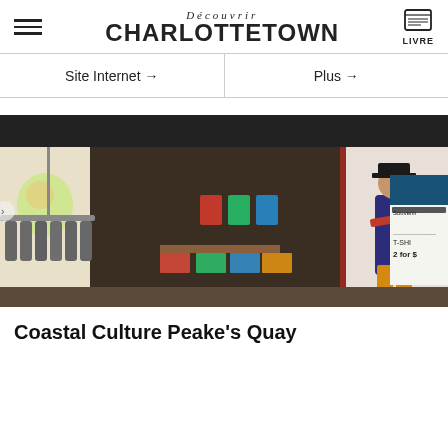Découvrir Charlottetown
Site Internet →
Plus →
[Figure (photo): Storefront photo of a pirate-themed souvenir shop at Peake's Quay, showing clothing racks with grey hoodies on the left, colorful t-shirts and merchandise inside, and a large decorative pirate statue standing at the entrance on the right. A chalkboard sign reads 'T-SHIRTS 2 for $...' in the background.]
Coastal Culture Peake's Quay